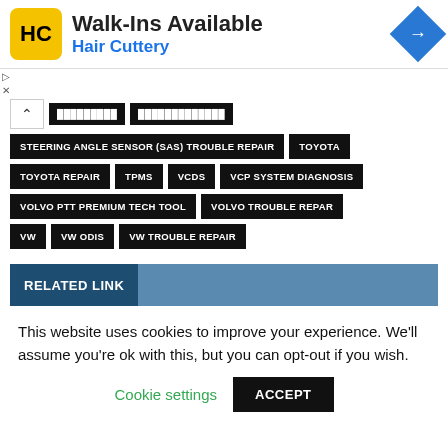[Figure (infographic): Hair Cuttery advertisement banner with yellow HC logo, 'Walk-Ins Available' text, and blue navigation arrow icon]
STEERING ANGLE SENSOR (SAS) TROUBLE REPAIR
TOYOTA
TOYOTA REPAIR
TPMS
VCDS
VCP SYSTEM DIAGNOSIS
VOLVO PTT PREMIUM TECH TOOL
VOLVO TROUBLE REPAR
VW
VW ODIS
VW TROUBLE REPAIR
RELATED LINK
This website uses cookies to improve your experience. We'll assume you're ok with this, but you can opt-out if you wish.
Cookie settings   ACCEPT